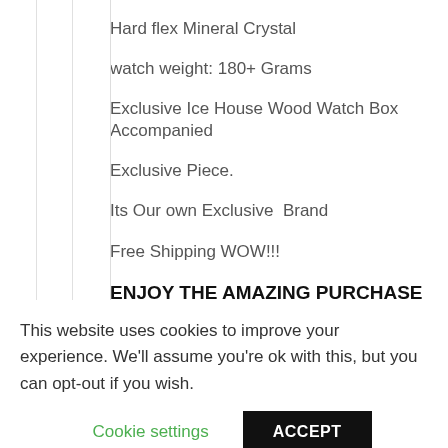Hard flex Mineral Crystal
watch weight: 180+ Grams
Exclusive Ice House Wood Watch Box Accompanied
Exclusive Piece.
Its Our own Exclusive  Brand
Free Shipping WOW!!!
ENJOY THE AMAZING PURCHASE OF ICE HOUSE WATCH.
This website uses cookies to improve your experience. We'll assume you're ok with this, but you can opt-out if you wish.
Cookie settings
ACCEPT